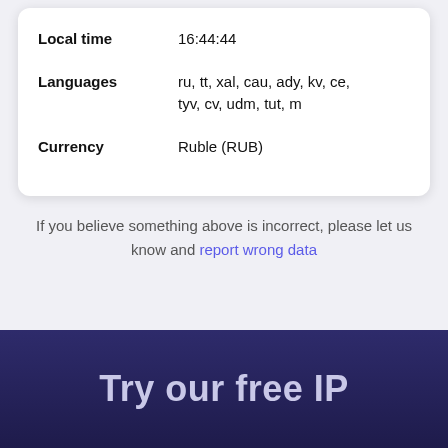| Local time | 16:44:44 |
| Languages | ru, tt, xal, cau, ady, kv, ce, tyv, cv, udm, tut, m |
| Currency | Ruble (RUB) |
If you believe something above is incorrect, please let us know and report wrong data
Try our free IP